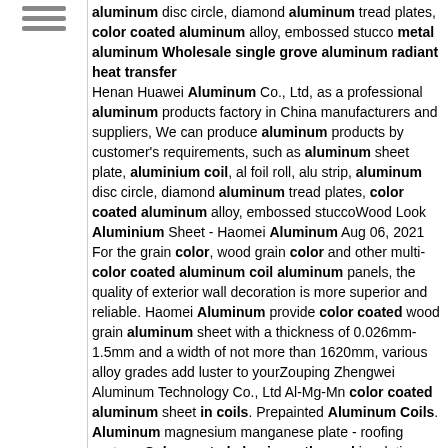aluminum disc circle, diamond aluminum tread plates, color coated aluminum alloy, embossed stucco metal aluminum Wholesale single grove aluminum radiant heat transfer Henan Huawei Aluminum Co., Ltd, as a professional aluminum products factory in China manufacturers and suppliers, We can produce aluminum products by customer's requirements, such as aluminum sheet plate, aluminium coil, al foil roll, alu strip, aluminum disc circle, diamond aluminum tread plates, color coated aluminum alloy, embossed stuccoWood Look Aluminium Sheet - Haomei Aluminum Aug 06, 2021 For the grain color, wood grain color and other multi-color coated aluminum coil aluminum panels, the quality of exterior wall decoration is more superior and reliable. Haomei Aluminum provide color coated wood grain aluminum sheet with a thickness of 0.026mm-1.5mm and a width of not more than 1620mm, various alloy grades add luster to yourZouping Zhengwei Aluminum Technology Co., Ltd Al-Mg-Mn color coated aluminum sheet in coils. Prepainted Aluminum Coils. Aluminum magnesium manganese plate - roofing system. Color-coated aluminum thermal insulation decorative board. Aluminum ceiling sheet. Finished goods inventory & Mill finished aluminum coil
wood grain aluminum coil sheet supplier exporter of g8
Color Coated Aluminum Coil Steel Coil. Now the annual output of